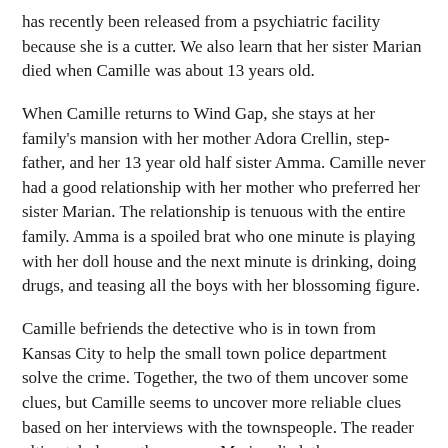has recently been released from a psychiatric facility because she is a cutter. We also learn that her sister Marian died when Camille was about 13 years old.
When Camille returns to Wind Gap, she stays at her family's mansion with her mother Adora Crellin, step-father, and her 13 year old half sister Amma. Camille never had a good relationship with her mother who preferred her sister Marian. The relationship is tenuous with the entire family. Amma is a spoiled brat who one minute is playing with her doll house and the next minute is drinking, doing drugs, and teasing all the boys with her blossoming figure.
Camille befriends the detective who is in town from Kansas City to help the small town police department solve the crime. Together, the two of them uncover some clues, but Camille seems to uncover more reliable clues based on her interviews with the townspeople. The reader ultimately learns the reasons Marian died, the reasons Amma behaves the way she does, the reasons Adora is aloof, and who the killer is.
Several things bothered me about this book. First, it was too